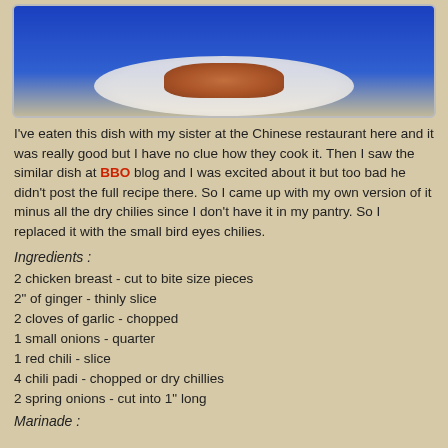[Figure (photo): Photo of a Chinese dish on a white plate against a blue background, partially visible at top of page]
I've eaten this dish with my sister at the Chinese restaurant here and it was really good but I have no clue how they cook it. Then I saw the similar dish at BBO blog and I was excited about it but too bad he didn't post the full recipe there. So I came up with my own version of it minus all the dry chilies since I don't have it in my pantry. So I replaced it with the small bird eyes chilies.
Ingredients :
2 chicken breast - cut to bite size pieces
2" of ginger - thinly slice
2 cloves of garlic - chopped
1 small onions - quarter
1 red chili - slice
4 chili padi - chopped or dry chillies
2 spring onions - cut into 1" long
Marinade :